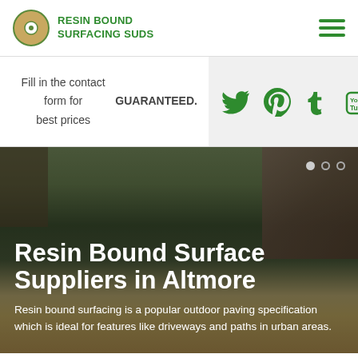[Figure (logo): Resin Bound Surfacing Suds logo with circular tan/green icon and green text]
Fill in the contact form for best prices GUARANTEED.
[Figure (infographic): Social media icons: Twitter bird, Pinterest P, Tumblr t, YouTube logo in green]
[Figure (photo): Outdoor photo of a resin bound surfaced area with a gazebo/shelter structure, trees, and residential buildings in background]
Resin Bound Surface Suppliers in Altmore
Resin bound surfacing is a popular outdoor paving specification which is ideal for features like driveways and paths in urban areas.